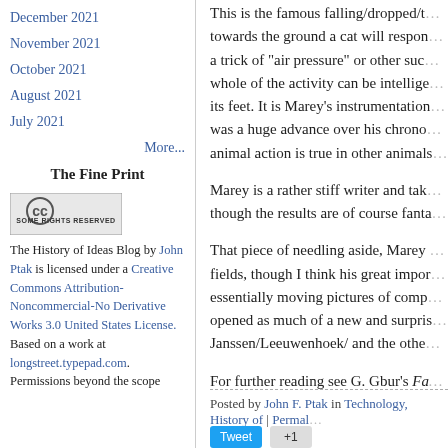December 2021
November 2021
October 2021
August 2021
July 2021
More...
The Fine Print
[Figure (logo): Creative Commons Some Rights Reserved badge]
The History of Ideas Blog by John Ptak is licensed under a Creative Commons Attribution-Noncommercial-No Derivative Works 3.0 United States License. Based on a work at longstreet.typepad.com. Permissions beyond the scope
This is the famous falling/dropped/t... towards the ground a cat will respon... a trick of "air pressure" or other suc... whole of the activity can be intellige... its feet. It is Marey's instrumentation... was a huge advance over his chrono... animal action is true in other animals...
Marey is a rather stiff writer and tak... though the results are of course fanta...
That piece of needling aside, Marey ... fields, though I think his great impor... essentially moving pictures of comp... opened as much of a new and surpris... Janssen/Leeuwenhoek/ and the othe...
For further reading see G. Gbur's Fa...
Posted by John F. Ptak in Technology, History of | Permal...